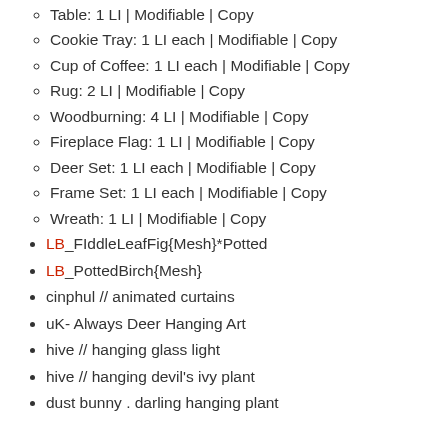Table: 1 LI | Modifiable | Copy
Cookie Tray: 1 LI each | Modifiable | Copy
Cup of Coffee: 1 LI each | Modifiable | Copy
Rug: 2 LI | Modifiable | Copy
Woodburning: 4 LI | Modifiable | Copy
Fireplace Flag: 1 LI | Modifiable | Copy
Deer Set: 1 LI each | Modifiable | Copy
Frame Set: 1 LI each | Modifiable | Copy
Wreath: 1 LI | Modifiable | Copy
LB_FIddleLeafFig{Mesh}*Potted
LB_PottedBirch{Mesh}
cinphul // animated curtains
uK- Always Deer Hanging Art
hive // hanging glass light
hive // hanging devil's ivy plant
dust bunny . darling hanging plant